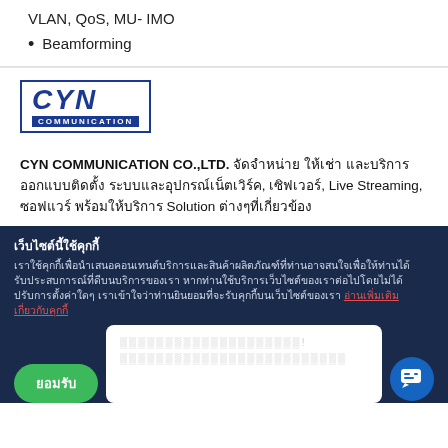VLAN, QoS, MU- IMO
Beamforming
[Figure (logo): CYN Communication company logo — bold blue italic CYN text with COMMUNICATION in white on blue bar below, inside a blue border rectangle]
CYN COMMUNICATION CO.,LTD. จัดจำหน่าย ให้เช่า และบริการออกแบบติดตั้ง ระบบและอุปกรณ์เน็ตเวิร์ค, เซิฟเวอร์, Live Streaming, ซอฟแวร์ พร้อมให้บริการ Solution ต่างๆที่เกี่ยวข้อง
เว็บไซต์นี้ใช้คุกกี้
เราใช้คุกกี้เพื่อนำเสนอคอนเทนต์บริการและสินค้าผลิตภัณฑ์ที่ท่านอาจสนใจเพื่อให้ท่านได้รับประสบการณ์ที่ดีบนบริการของเรา หากท่านใช้บริการเว็บไซต์ของเราต่อไปโดยไม่ได้ปรับการตั้งค่าใดๆ เราเข้าใจว่าท่านยินยอมที่จะรับคุกกี้บนเว็บไซต์ของเรา อ่านเพิ่มเติมเกี่ยวกับคุกกี้